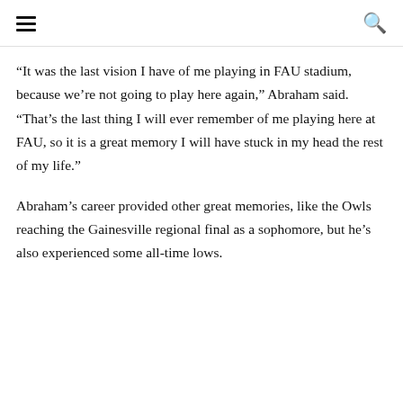“It was the last vision I have of me playing in FAU stadium, because we’re not going to play here again,” Abraham said. “That’s the last thing I will ever remember of me playing here at FAU, so it is a great memory I will have stuck in my head the rest of my life.”
Abraham’s career provided other great memories, like the Owls reaching the Gainesville regional final as a sophomore, but he’s also experienced some all-time lows.